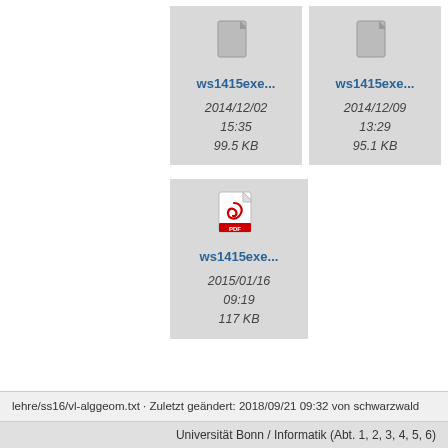[Figure (screenshot): File card thumbnail for ws1415exe... with date 2014/12/02 15:35, 99.5 KB]
[Figure (screenshot): File card thumbnail for ws1415exe... with date 2014/12/09 13:29, 95.1 KB]
[Figure (screenshot): File card with PDF icon for ws1415exe... with date 2015/01/16 09:19, 117 KB]
lehre/ss16/vl-alggeom.txt · Zuletzt geändert: 2018/09/21 09:32 von schwarzwald
Universität Bonn / Informatik (Abt. 1, 2, 3, 4, 5, 6)